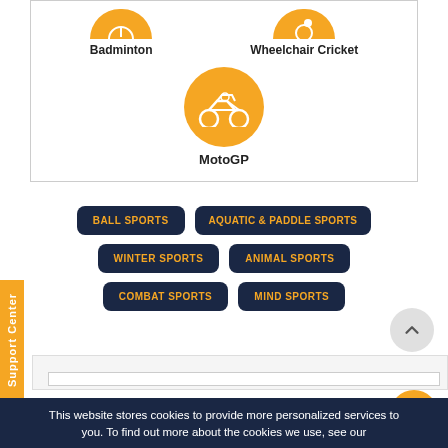[Figure (infographic): Sports category icons: Badminton (orange circle with shuttlecock icon) and Wheelchair Cricket (orange circle with wheelchair cricket icon) in a card, with MotoGP (orange circle with motorcycle icon) below]
Badminton
Wheelchair Cricket
MotoGP
BALL SPORTS
AQUATIC & PADDLE SPORTS
WINTER SPORTS
ANIMAL SPORTS
COMBAT SPORTS
MIND SPORTS
Support Center
This website stores cookies to provide more personalized services to you. To find out more about the cookies we use, see our